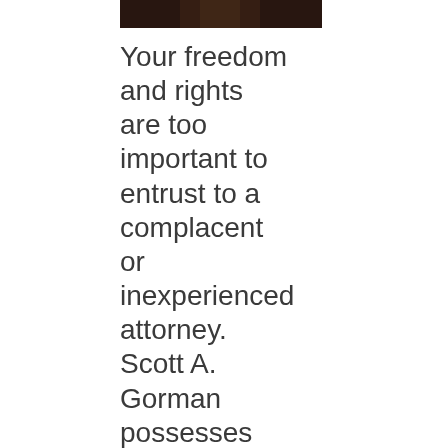[Figure (photo): Partial photo of a person in a dark suit, cropped at top of page]
Your freedom and rights are too important to entrust to a complacent or inexperienced attorney. Scott A. Gorman possesses the experience, the academic and